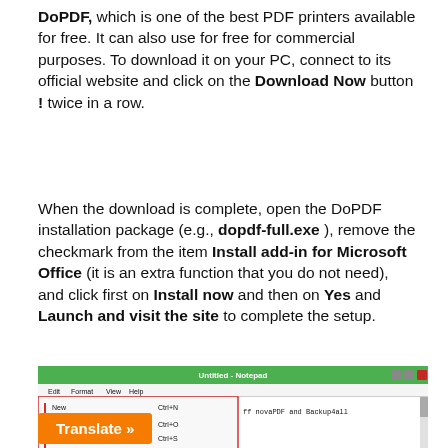DoPDF, which is one of the best PDF printers available for free. It can also use for free for commercial purposes. To download it on your PC, connect to its official website and click on the Download Now button ! twice in a row.
When the download is complete, open the DoPDF installation package (e.g., dopdf-full.exe ), remove the checkmark from the item Install add-in for Microsoft Office (it is an extra function that you do not need), and click first on Install now and then on Yes and Launch and visit the site to complete the setup.
[Figure (screenshot): Screenshot of Notepad with File menu open showing Print option highlighted, and a Print dialog box showing printer selection with doPDF 11, doPDF 10, doPDF 8, doPDF 9, EPSON L365 printers listed. Red arrows point to the Print menu item and the doPDF 11 printer icon.]